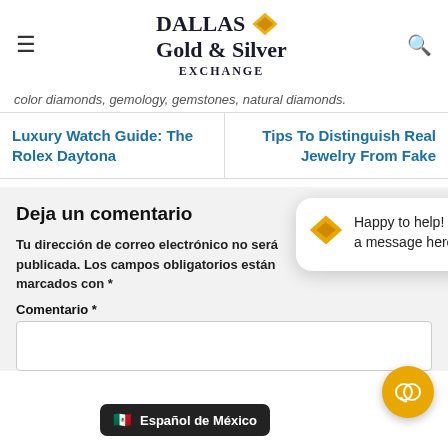Dallas Gold & Silver Exchange
color diamonds, gemology, gemstones, natural diamonds.
Luxury Watch Guide: The Rolex Daytona
Tips To Distinguish Real Jewelry From Fake
Deja un comentario
Tu dirección de correo electrónico no será publicada. Los campos obligatorios están marcados con *
Comentario *
Happy to help! Send us a message here.
🇲🇽 Español de México